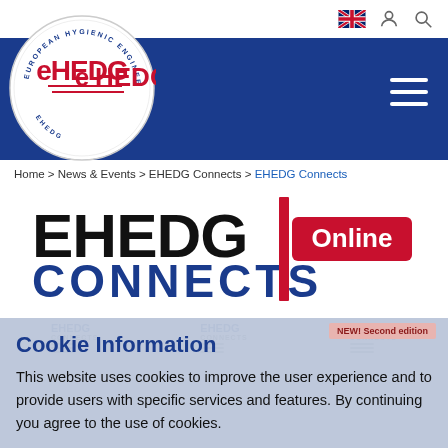[Figure (logo): Top navigation bar with UK flag, person icon, search icon]
[Figure (logo): Blue header band with EHEDG circular logo on left and hamburger menu on right]
Home > News & Events > EHEDG Connects > EHEDG Connects
[Figure (logo): EHEDG CONNECTS Online logo — EHEDG in large black bold, CONNECTS in large dark blue bold, red vertical bar separator, red rounded rectangle with white Online text]
NEW! Second edition
Cookie Information
This website uses cookies to improve the user experience and to provide users with specific services and features. By continuing you agree to the use of cookies.